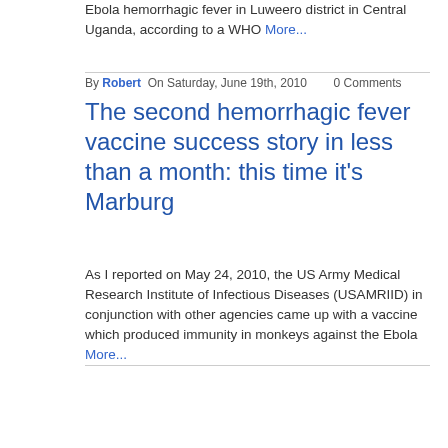Ebola hemorrhagic fever in Luweero district in Central Uganda, according to a WHO More...
By Robert On Saturday, June 19th, 2010   0 Comments
The second hemorrhagic fever vaccine success story in less than a month: this time it's Marburg
As I reported on May 24, 2010, the US Army Medical Research Institute of Infectious Diseases (USAMRIID) in conjunction with other agencies came up with a vaccine which produced immunity in monkeys against the Ebola More...